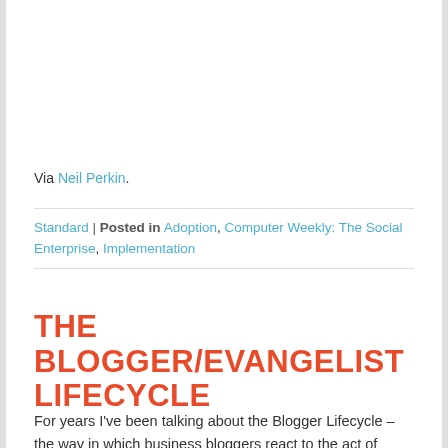Via Neil Perkin.
Standard | Posted in Adoption, Computer Weekly: The Social Enterprise, Implementation
THE BLOGGER/EVANGELIST LIFECYCLE
For years I've been talking about the Blogger Lifecycle – the way in which business bloggers react to the act of